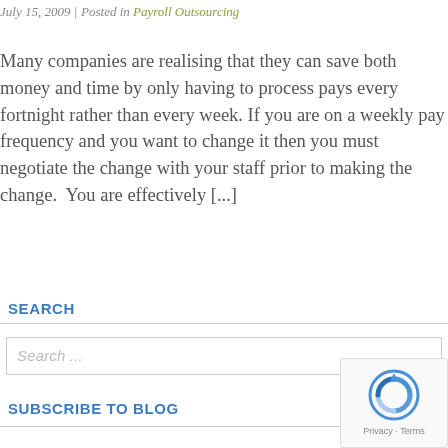July 15, 2009 | Posted in Payroll Outsourcing
Many companies are realising that they can save both money and time by only having to process pays every fortnight rather than every week. If you are on a weekly pay frequency and you want to change it then you must negotiate the change with your staff prior to making the change.  You are effectively [...]
SEARCH
Search ...
SUBSCRIBE TO BLOG